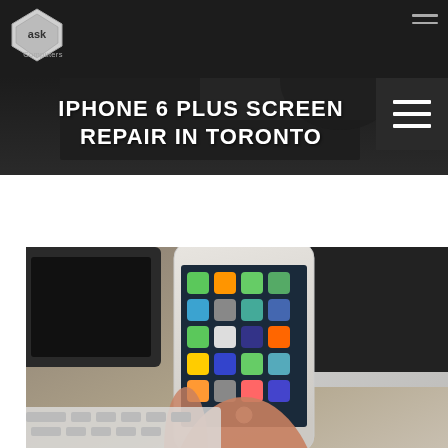ASK Computers
IPHONE 6 PLUS SCREEN REPAIR IN TORONTO
[Figure (photo): Person holding an iPhone 6 Plus showing home screen with apps, Apple Mac computer in background, keyboard visible on desk — service/repair business website banner image]